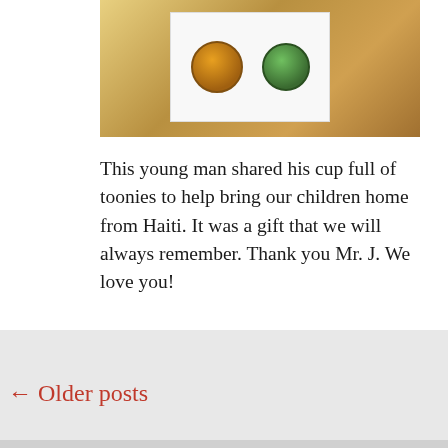[Figure (photo): A photo showing a white piece of paper with cartoon character stickers/drawings on a wooden surface background]
This young man shared his cup full of toonies to help bring our children home from Haiti. It was a gift that we will always remember. Thank you Mr. J. We love you!
Posted by leah in Uncategorized
Permalink   Leave a comment
← Older posts